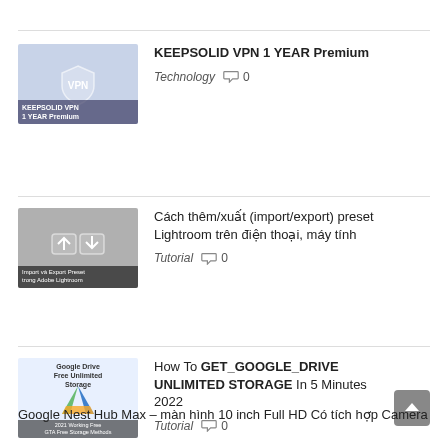KEEPSOLID VPN 1 YEAR Premium — Technology 0
Cách thêm/xuất (import/export) preset Lightroom trên điện thoại, máy tính — Tutorial 0
How To GET_GOOGLE_DRIVE UNLIMITED STORAGE In 5 Minutes 2022 — Tutorial 0
Google Nest Hub Max – màn hình 10 inch Full HD Có tích hợp Camera